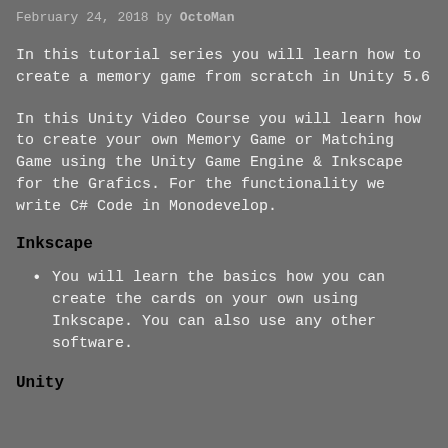February 24, 2018 by OctoMan
In this tutorial series you will learn how to create a memory game from scratch in Unity 5.6
In this Unity Video Course you will learn how to create your own Memory Game or Matching Game using the Unity Game Engine & Inkscape for the Grafics. For the functionality we write C# Code in Monodevelop.
Inkscape
You will learn the basics how you can create the cards on your own using Inkscape. You can also use any other software.
Unity